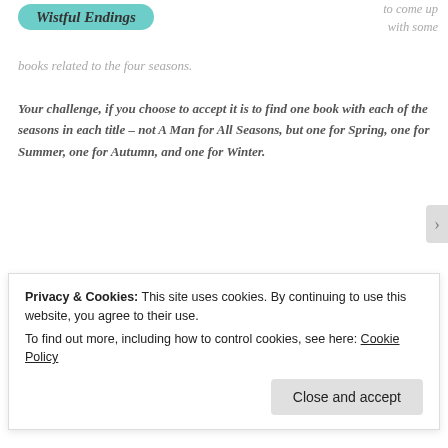[Figure (logo): Wistful Endings blog title in italic bold font on teal rounded banner, partially visible at top]
to come up with some books related to the four seasons.
Your challenge, if you choose to accept it is to find one book with each of the seasons in each title – not A Man for All Seasons, but one for Spring, one for Summer, one for Autumn, and one for Winter.
If you can't find the titles including the season, you can include a book that is specifically set or related to the season. Obviously Christmas stories relate to winter (or summer, if you're in the southern hemisphere); The Longest Day is summer...
Privacy & Cookies: This site uses cookies. By continuing to use this website, you agree to their use.
To find out more, including how to control cookies, see here: Cookie Policy